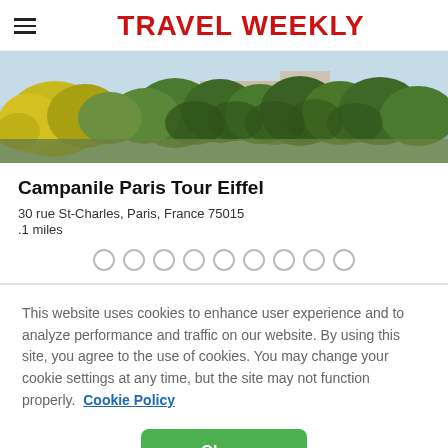TRAVEL WEEKLY
[Figure (photo): Outdoor photo of trees and greenery near the Eiffel Tower area in Paris]
Campanile Paris Tour Eiffel
30 rue St-Charles, Paris, France 75015
.1 miles
This website uses cookies to enhance user experience and to analyze performance and traffic on our website. By using this site, you agree to the use of cookies. You may change your cookie settings at any time, but the site may not function properly. Cookie Policy
Close